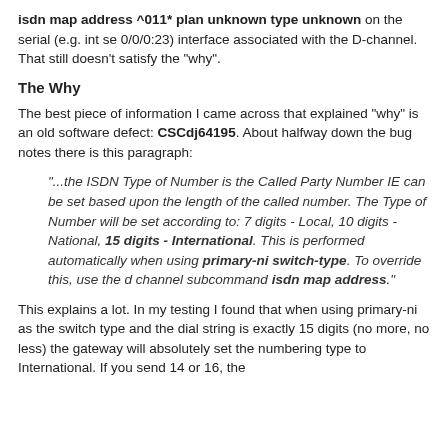isdn map address ^011* plan unknown type unknown on the serial (e.g. int se 0/0/0:23) interface associated with the D-channel. That still doesn't satisfy the "why".
The Why
The best piece of information I came across that explained "why" is an old software defect: CSCdj64195. About halfway down the bug notes there is this paragraph:
"...the ISDN Type of Number is the Called Party Number IE can be set based upon the length of the called number. The Type of Number will be set according to: 7 digits - Local, 10 digits - National, 15 digits - International. This is performed automatically when using primary-ni switch-type. To override this, use the d channel subcommand isdn map address."
This explains a lot. In my testing I found that when using primary-ni as the switch type and the dial string is exactly 15 digits (no more, no less) the gateway will absolutely set the numbering type to International. If you send 14 or 16, the